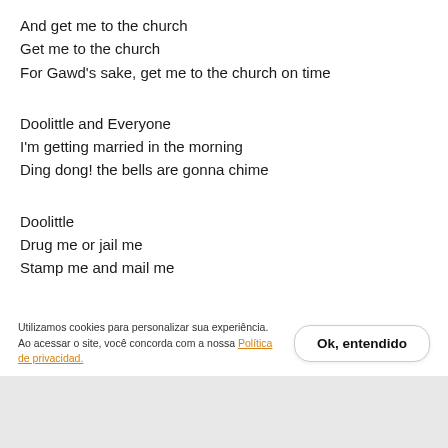And get me to the church
Get me to the church
For Gawd's sake, get me to the church on time
Doolittle and Everyone
I'm getting married in the morning
Ding dong! the bells are gonna chime
Doolittle
Drug me or jail me
Stamp me and mail me
All
But get me to the church on time
I'm getting married in the morning (partial/cut off)
Utilizamos cookies para personalizar sua experiência. Ao acessar o site, você concorda com a nossa Política de privacidad.
Ok, entendido